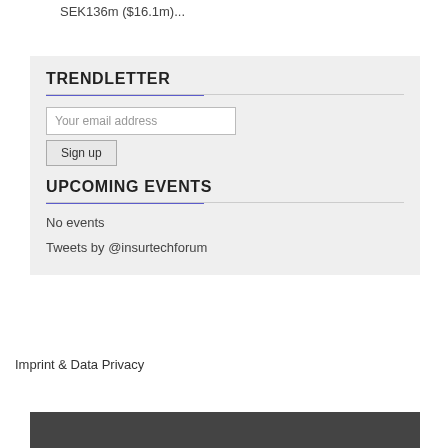SEK136m ($16.1m)...
TRENDLETTER
Your email address
Sign up
UPCOMING EVENTS
No events
Tweets by @insurtechforum
Imprint & Data Privacy